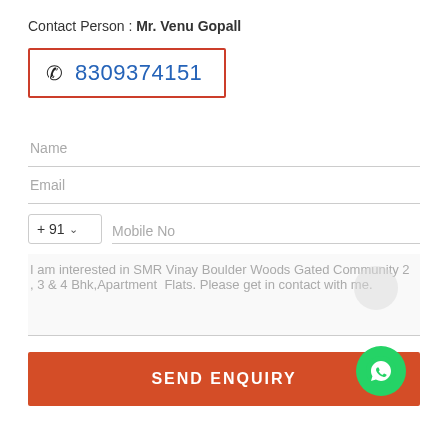Contact Person : Mr. Venu Gopall
8309374151
Name
Email
+ 91   Mobile No
I am interested in SMR Vinay Boulder Woods Gated Community 2 , 3 & 4 Bhk,Apartment  Flats. Please get in contact with me.
SEND ENQUIRY